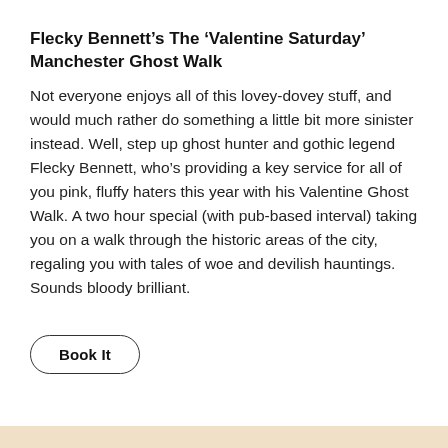Flecky Bennett’s The ‘Valentine Saturday’ Manchester Ghost Walk
Not everyone enjoys all of this lovey-dovey stuff, and would much rather do something a little bit more sinister instead. Well, step up ghost hunter and gothic legend Flecky Bennett, who’s providing a key service for all of you pink, fluffy haters this year with his Valentine Ghost Walk. A two hour special (with pub-based interval) taking you on a walk through the historic areas of the city, regaling you with tales of woe and devilish hauntings. Sounds bloody brilliant.
Book It